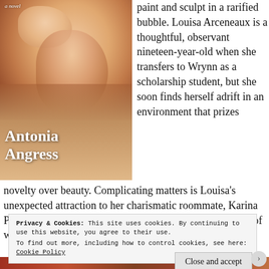[Figure (illustration): Book cover showing a painted/illustrated face with text 'Antonia Angress' and label 'a novel' at top]
paint and sculpt in a rarified bubble. Louisa Arceneaux is a thoughtful, observant nineteen-year-old when she transfers to Wrynn as a scholarship student, but she soon finds herself adrift in an environment that prizes novelty over beauty. Complicating matters is Louisa's unexpected attraction to her charismatic roommate, Karina Piontek, the preternaturally gifted but mercurial daughter of wealthy art collectors. Gradually, Louisa and Karina are
Privacy & Cookies: This site uses cookies. By continuing to use this website, you agree to their use.
To find out more, including how to control cookies, see here: Cookie Policy
Close and accept